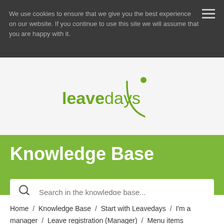We use cookies to ensure that we give you the best experience on our website. If you continue to use this site we will assume that you are happy with it.
[Figure (logo): Leavedays logo: green text 'leavedays' with a circular arc and dot graphic to the right]
Knowledge Base
Search in the knowledge base...
Home / Knowledge Base / Start with Leavedays / I'm a manager / Leave registration (Manager) / Menu items